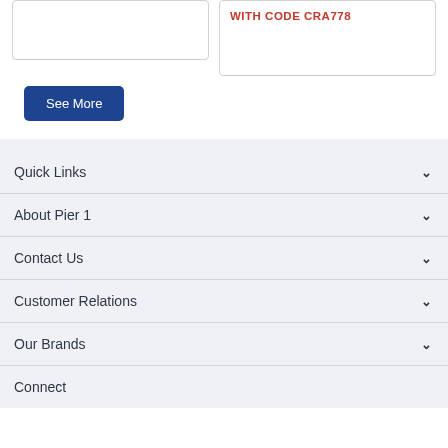[Figure (other): Two card placeholders side by side, left card empty, right card shows red text 'WITH CODE CRA778']
See More
Quick Links
About Pier 1
Contact Us
Customer Relations
Our Brands
Connect